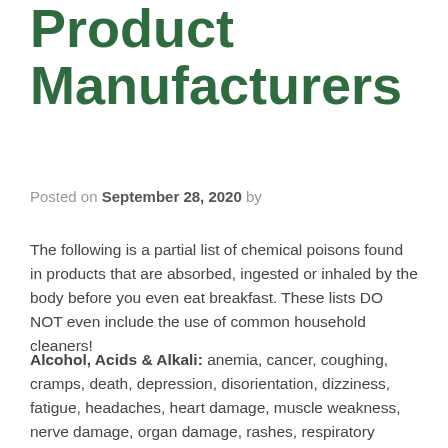Product Manufacturers
Posted on September 28, 2020 by
The following is a partial list of chemical poisons found in products that are absorbed, ingested or inhaled by the body before you even eat breakfast. These lists DO NOT even include the use of common household cleaners!
Alcohol, Acids & Alkali: anemia, cancer, coughing, cramps, death, depression, disorientation, dizziness, fatigue, headaches, heart damage, muscle weakness, nerve damage, organ damage, rashes, respiratory problems, sleeping problems, vision problems and more.
Bleaches & Chlorines: anemia, child development problems, cancer, diabetes, gastrointestinal cancer, gland cancer, headaches, heart disease, immune system breakdown, mental function difficulties, organ cancer,